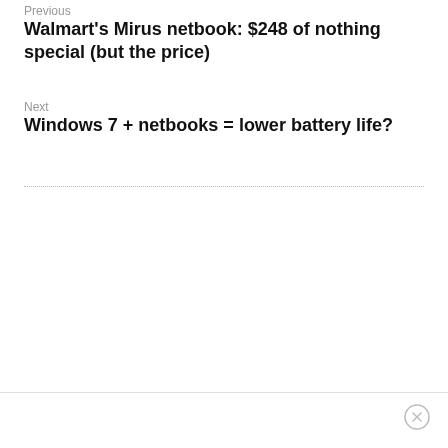Previous
Walmart's Mirus netbook: $248 of nothing special (but the price)
Next
Windows 7 + netbooks = lower battery life?